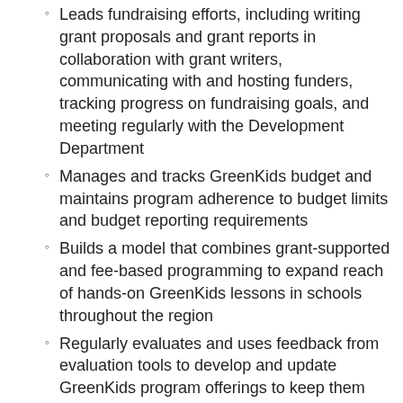Leads fundraising efforts, including writing grant proposals and grant reports in collaboration with grant writers, communicating with and hosting funders, tracking progress on fundraising goals, and meeting regularly with the Development Department
Manages and tracks GreenKids budget and maintains program adherence to budget limits and budget reporting requirements
Builds a model that combines grant-supported and fee-based programming to expand reach of hands-on GreenKids lessons in schools throughout the region
Regularly evaluates and uses feedback from evaluation tools to develop and update GreenKids program offerings to keep them relevant, innovative, and aligned with current curriculum standards
Fosters partnerships with organizations serving complimentary education roles in the community
Manages development of all GreenKids program outreach and marketing materials in consultation with the Director of Marketing and Communications
Communicates GreenKids program successes to partners, funders, and the public using social media
Manages and maintains inventory of GreenKids program